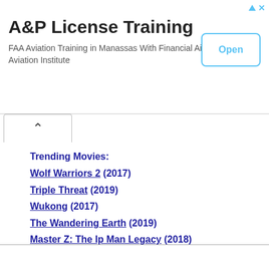[Figure (other): Advertisement banner for A&P License Training. Title: 'A&P License Training'. Body text: 'FAA Aviation Training in Manassas With Financial Aid If You Qualify. Aviation Institute'. Has an 'Open' button on the right side.]
Trending Movies:
Wolf Warriors 2 (2017)
Triple Threat (2019)
Wukong (2017)
The Wandering Earth (2019)
Master Z: The Ip Man Legacy (2018)
Journey to the West 2 (2017)
Kung Fu Monster (2018)
Big Brother (2018)
Iceman 2 (2018)
Brotherhood of Blades 2 (2017)